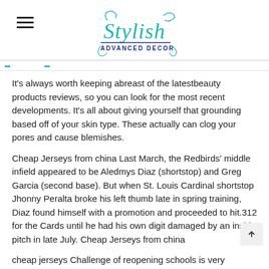[Figure (logo): Stylish Advanced Decor logo with teal cursive 'Stylish' text and navy 'ADVANCED DECOR' below, decorative flourishes, hamburger menu icon to the left]
It's always worth keeping abreast of the latestbeauty products reviews, so you can look for the most recent developments. It's all about giving yourself that grounding based off of your skin type. These actually can clog your pores and cause blemishes.
Cheap Jerseys from china Last March, the Redbirds' middle infield appeared to be Aledmys Diaz (shortstop) and Greg Garcia (second base). But when St. Louis Cardinal shortstop Jhonny Peralta broke his left thumb late in spring training, Diaz found himself with a promotion and proceeded to hit.312 for the Cards until he had his own digit damaged by an inside pitch in late July. Cheap Jerseys from china
cheap jerseys Challenge of reopening schools is very